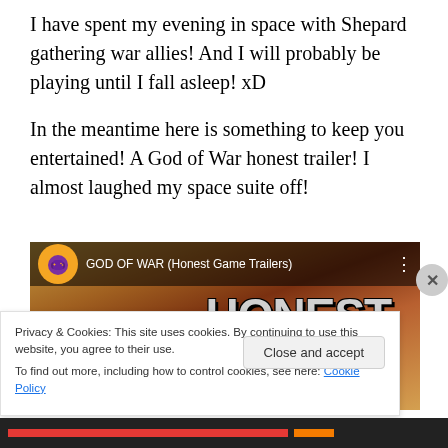I have spent my evening in space with Shepard gathering war allies! And I will probably be playing until I fall asleep! xD
In the meantime here is something to keep you entertained! A God of War honest trailer! I almost laughed my space suite off!
[Figure (screenshot): YouTube video thumbnail for 'GOD OF WAR (Honest Game Trailers)' showing the words HONEST TRAILER in large bold text over a game background, with a purple gaming channel icon.]
Privacy & Cookies: This site uses cookies. By continuing to use this website, you agree to their use.
To find out more, including how to control cookies, see here: Cookie Policy